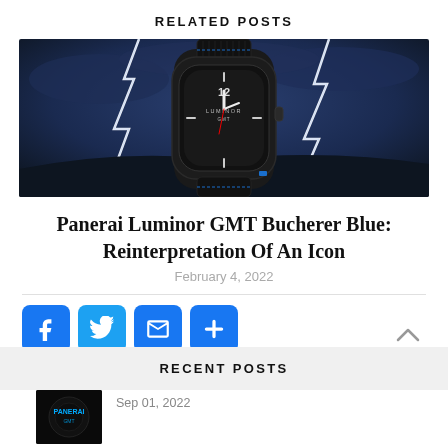RELATED POSTS
[Figure (photo): Panerai Luminor GMT watch with black fabric strap on a dramatic stormy background with lightning bolts]
Panerai Luminor GMT Bucherer Blue: Reinterpretation Of An Icon
February 4, 2022
[Figure (infographic): Social share buttons: Facebook, Twitter, Email, More]
RECENT POSTS
Sep 01, 2022